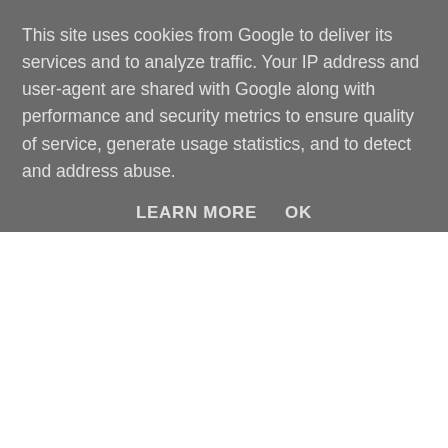This site uses cookies from Google to deliver its services and to analyze traffic. Your IP address and user-agent are shared with Google along with performance and security metrics to ensure quality of service, generate usage statistics, and to detect and address abuse.
LEARN MORE    OK